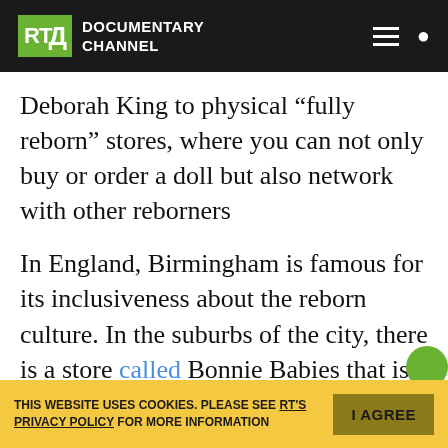RT Documentary Channel
Deborah King to physical “fully reborn” stores, where you can not only buy or order a doll but also network with other reborners
In England, Birmingham is famous for its inclusiveness about the reborn culture. In the suburbs of the city, there is a store called Bonnie Babies that is quite famous among the reborners. The store is a heaven for collectors and amateurs — here they can find virtually anything from newborns to clothes and accessories for them. One can buy a ready-made doll or make a pre-order and have a perfect “designer reborn”. Once a month, the local reborn community hosts a tea party for reborn mo…
THIS WEBSITE USES COOKIES. PLEASE SEE RT'S PRIVACY POLICY FOR MORE INFORMATION   I AGREE